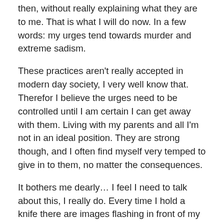then, without really explaining what they are to me. That is what I will do now. In a few words: my urges tend towards murder and extreme sadism.
These practices aren't really accepted in modern day society, I very well know that. Therefor I believe the urges need to be controlled until I am certain I can get away with them. Living with my parents and all I'm not in an ideal position. They are strong though, and I often find myself very temped to give in to them, no matter the consequences.
It bothers me dearly… I feel I need to talk about this, I really do. Every time I hold a knife there are images flashing in front of my eyes, and I realize that I'm in pretty deep already. I need to talk about it because only when it is in the open it feels safe. That is why I tell you this here